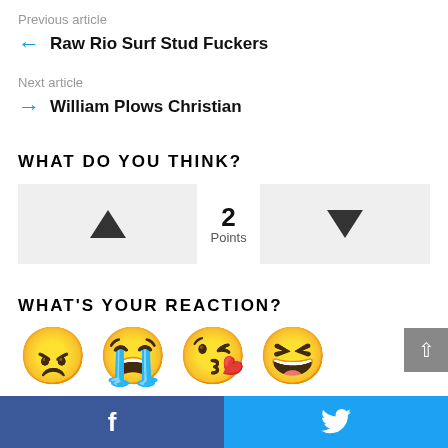Previous article
← Raw Rio Surf Stud Fuckers
Next article
→ William Plows Christian
WHAT DO YOU THINK?
[Figure (other): Upvote/downvote widget showing 2 Points with up and down triangle buttons]
WHAT'S YOUR REACTION?
[Figure (other): Row of reaction emojis: angry face, crying face, kissing face with heart, laughing face with tears]
Facebook share button | Twitter share button